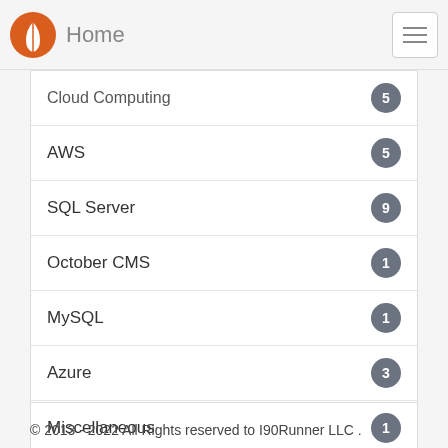Home
Cloud Computing — 5
AWS — 5
SQL Server — 9
October CMS — 1
MySQL — 1
Azure — 3
Miscellaneous — 1
OctoberCMS — 1
© 2013 - 2022 All Rights reserved to I90Runner LLC .